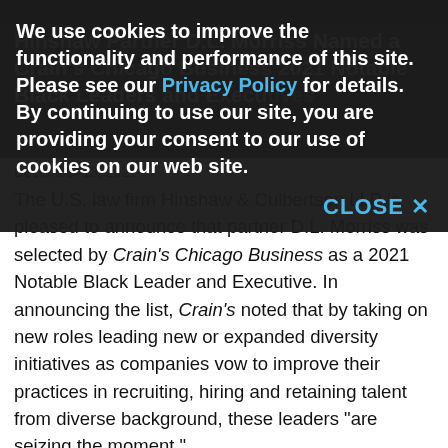Hinshaw Partner D.L. Morriss Named a Crain's Chicago Business 2021 Notable Black Leaders and Executives
We use cookies to improve the functionality and performance of this site. Please see our Privacy Policy for details. By continuing to use our site, you are providing your consent to our use of cookies on our web site.
CLOSE ×
December 13, 2021
The U.S. law firm Hinshaw & Culbertson LLP is pleased to announce that partner D.L. Morriss was selected by Crain's Chicago Business as a 2021 Notable Black Leader and Executive. In announcing the list, Crain's noted that by taking on new roles leading new or expanded diversity initiatives as companies vow to improve their practices in recruiting, hiring and retaining talent from diverse background, these leaders "are seizing the moment."
As Hinshaw's Diversity, Equity and Inclusion Partner, Morriss manages all firmwide cultural initiatives and affinity groups, including Black, Asian, Hispanic, Women